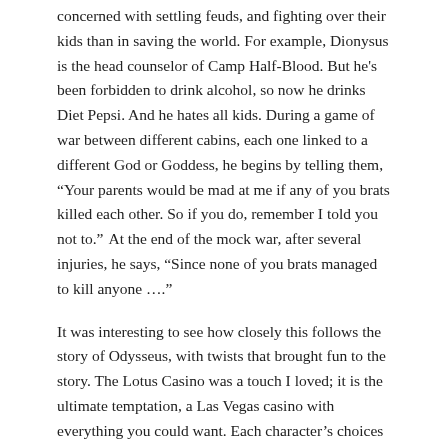concerned with settling feuds, and fighting over their kids than in saving the world. For example, Dionysus is the head counselor of Camp Half-Blood. But he's been forbidden to drink alcohol, so now he drinks Diet Pepsi. And he hates all kids. During a game of war between different cabins, each one linked to a different God or Goddess, he begins by telling them, “Your parents would be mad at me if any of you brats killed each other. So if you do, remember I told you not to.”  At the end of the mock war, after several injuries, he says, “Since none of you brats managed to kill anyone ….”
It was interesting to see how closely this follows the story of Odysseus, with twists that brought fun to the story. The Lotus Casino was a touch I loved; it is the ultimate temptation, a Las Vegas casino with everything you could want. Each character’s choices make perfect sense, with Annabeth building a city, and Grover hunting hunters. I loved the use of Medusa’s head at the end, too.